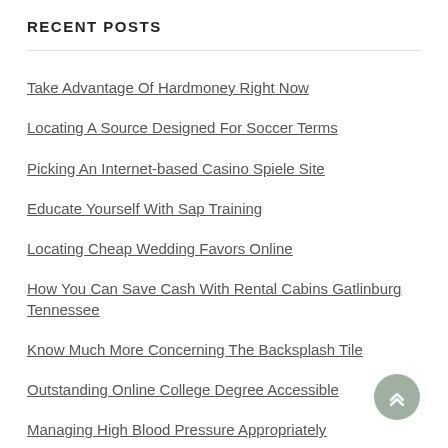RECENT POSTS
Take Advantage Of Hardmoney Right Now
Locating A Source Designed For Soccer Terms
Picking An Internet-based Casino Spiele Site
Educate Yourself With Sap Training
Locating Cheap Wedding Favors Online
How You Can Save Cash With Rental Cabins Gatlinburg Tennessee
Know Much More Concerning The Backsplash Tile
Outstanding Online College Degree Accessible
Managing High Blood Pressure Appropriately
Finding A Thermal Printer Online